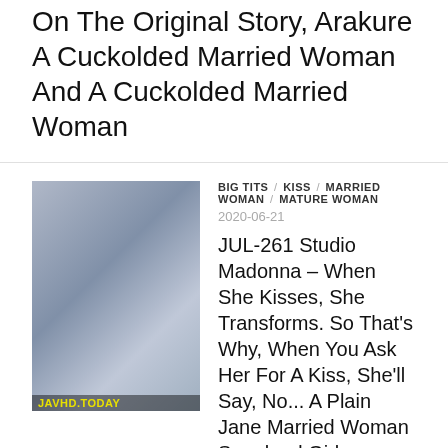On The Original Story, Arakure A Cuckolded Married Woman And A Cuckolded Married Woman
BIG TITS / KISS / MARRIED WOMAN / MATURE WOMAN
2020-06-21
[Figure (photo): Thumbnail image of a woman with watermark JAVHD.TODAY at the bottom]
JUL-261 Studio Madonna – When She Kisses, She Transforms. So That's Why, When You Ask Her For A Kiss, She'll Say, No... A Plain Jane Married Woman Soapland Girl Awakens Her Lust With A Kiss Hikari Kisaki
Page 1 of 2